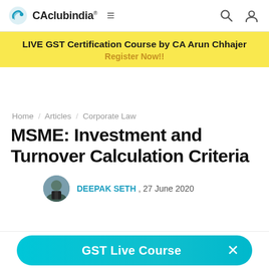CAclubindia®
[Figure (infographic): Yellow banner advertisement: LIVE GST Certification Course by CA Arun Chhajer. Register Now!!]
Home / Articles / Corporate Law
MSME: Investment and Turnover Calculation Criteria
DEEPAK SETH , 27 June 2020
[Figure (infographic): GST Live Course button with close icon]